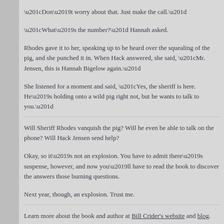“Don’t worry about that. Just make the call.”
“What’s the number?” Hannah asked.
Rhodes gave it to her, speaking up to be heard over the squealing of the pig, and she punched it in. When Hack answered, she said, “Mr. Jensen, this is Hannah Bigelow again.”
She listened for a moment and said, “Yes, the sheriff is here. He’s holding onto a wild pig right not, but he wants to talk to you.”
Will Sheriff Rhodes vanquish the pig? Will he even be able to talk on the phone? Will Hack Jensen send help?
Okay, so it’s not an explosion. You have to admit there’s suspense, however, and now you’ll have to read the book to discover the answers those burning questions.
Next year, though, an explosion. Trust me.
Learn more about the book and author at Bill Crider’s website and blog.
Ed Gorman has praised Crider’s “skills with characterization and milieu” and called the author “a master plotter.”